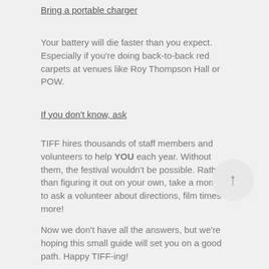Bring a portable charger
Your battery will die faster than you expect. Especially if you're doing back-to-back red carpets at venues like Roy Thompson Hall or POW.
If you don't know, ask
TIFF hires thousands of staff members and volunteers to help YOU each year. Without them, the festival wouldn't be possible. Rather than figuring it out on your own, take a moment to ask a volunteer about directions, film times or more!
[Figure (illustration): Circular up-arrow button icon]
Now we don't have all the answers, but we're hoping this small guide will set you on a good path. Happy TIFF-ing!